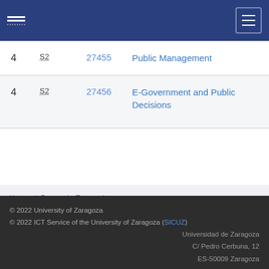University of Zaragoza navigation header
|  | S2 |  | Code | Subject |
| --- | --- | --- | --- | --- |
| 4 | S2 |  | 27455 | Public Management |
| 4 | S2 |  | 27456 | E-Government and Public Decisions |
Home / Degree in Economics / Subjects of plan 417 (year 2017-2018)
© 2022 University of Zaragoza
© 2022 ICT Service of the University of Zaragoza (SICUZ)
Universidad de Zaragoza
C/ Pedro Cerbuna, 12
ES-50009 Zaragoza